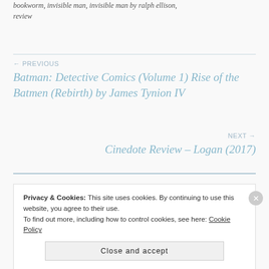bookworm, invisible man, invisible man by ralph ellison, review
← PREVIOUS
Batman: Detective Comics (Volume 1) Rise of the Batmen (Rebirth) by James Tynion IV
NEXT →
Cinedote Review – Logan (2017)
Privacy & Cookies: This site uses cookies. By continuing to use this website, you agree to their use.
To find out more, including how to control cookies, see here: Cookie Policy
Close and accept